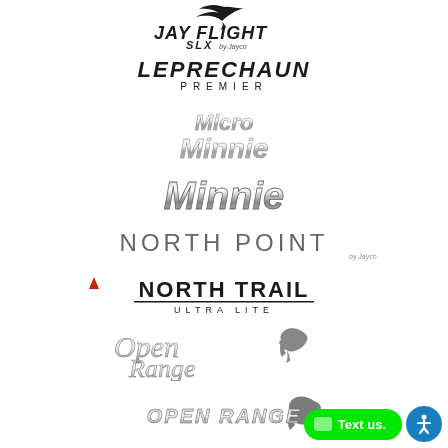[Figure (logo): Jay Flight SLX by Jayco brand logo with stylized bird/eagle graphic]
[Figure (logo): Leprechaun Premier brand logo in bold black text]
[Figure (logo): Micro Minnie brand logo in silver/chrome 3D style text]
[Figure (logo): Minnie brand logo in bold silver/chrome 3D style text]
[Figure (logo): North Point by Jayco brand logo in grey spaced capitals]
[Figure (logo): North Trail Ultra Lite brand logo with red triangle accent]
[Figure (logo): Open Range brand logo in script style with horse graphic]
[Figure (logo): Open Range brand logo in block/stencil style with horse graphic]